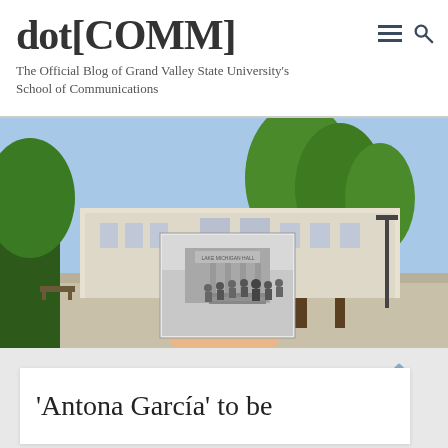dot[COMM] — The Official Blog of Grand Valley State University's School of Communications
[Figure (photo): A hand holding a black-and-white historical photo of students walking up steps into a building, overlaid against a modern color photo of the same GVSU campus building with trees and walkway.]
‘Antona García’ to be